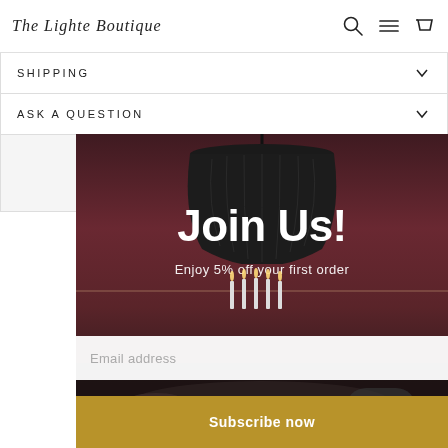The Lighte Boutique — navigation bar with search, menu, and cart icons
SHIPPING
ASK A QUESTION
[Figure (photo): E-commerce website popup/modal overlay showing a dining room scene with a large dark pendant lamp hanging from the ceiling, a table with lit candles in the background, set against a dark mauve/burgundy wall. The modal contains a newsletter signup form with the heading 'Join Us!', subtext 'Enjoy 5% off your first order', an email address input field, and a gold 'Subscribe now' button.]